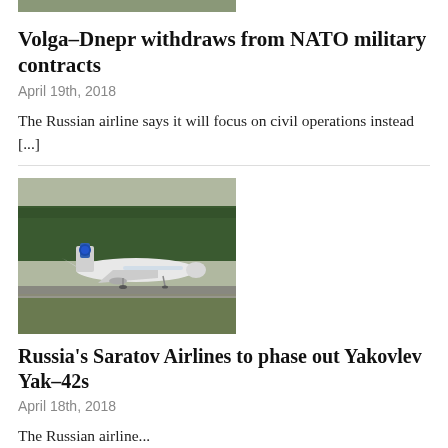[Figure (photo): Top cropped photo (partially visible at top of page)]
Volga-Dnepr withdraws from NATO military contracts
April 19th, 2018
The Russian airline says it will focus on civil operations instead [...]
[Figure (photo): Photo of a Saratov Airlines Yakovlev Yak-42 aircraft on a runway with trees in background]
Russia's Saratov Airlines to phase out Yakovlev Yak-42s
April 18th, 2018
The Russian airline...